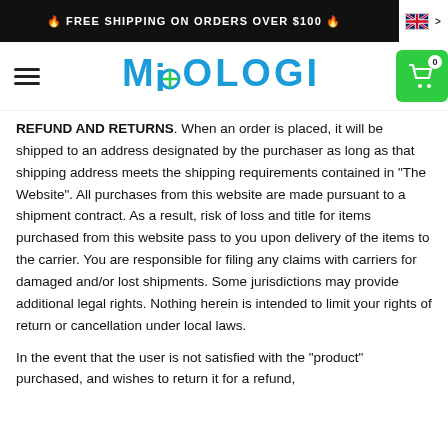🔥 FREE SHIPPING ON ORDERS OVER $100 🔥
[Figure (logo): Miologi logo with hamburger menu and shopping cart]
REFUND AND RETURNS. When an order is placed, it will be shipped to an address designated by the purchaser as long as that shipping address meets the shipping requirements contained in "The Website". All purchases from this website are made pursuant to a shipment contract. As a result, risk of loss and title for items purchased from this website pass to you upon delivery of the items to the carrier. You are responsible for filing any claims with carriers for damaged and/or lost shipments. Some jurisdictions may provide additional legal rights. Nothing herein is intended to limit your rights of return or cancellation under local laws.
In the event that the user is not satisfied with the "product" purchased, and wishes to return it for a refund,